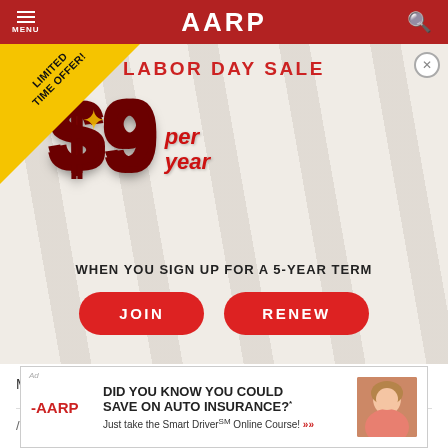MENU | AARP
[Figure (infographic): AARP Labor Day Sale advertisement modal showing '$9 per year' price in large red 3D text, with 'LIMITED TIME OFFER!' yellow corner badge, 'LABOR DAY SALE' header, 'WHEN YOU SIGN UP FOR A 5-YEAR TERM' subtext, and JOIN and RENEW red pill-shaped buttons. Close button (x) in top right.]
My Settings | Guidelines | Help | Forums ▾
/ AARP Online Community / About dc27761620
[Figure (infographic): AARP advertisement banner: 'DID YOU KNOW YOU COULD SAVE ON AUTO INSURANCE?* Just take the Smart Driver Online Course!' with AARP logo and woman in car photo on right.]